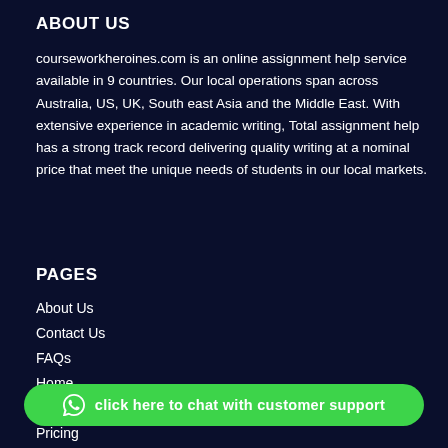ABOUT US
courseworkheroines.com is an online assignment help service available in 9 countries. Our local operations span across Australia, US, UK, South east Asia and the Middle East. With extensive experience in academic writing, Total assignment help has a strong track record delivering quality writing at a nominal price that meet the unique needs of students in our local markets.
PAGES
About Us
Contact Us
FAQs
Home
Pricing
click here to chat with customer support